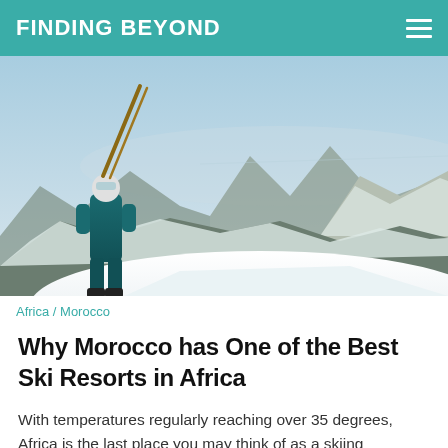FINDING BEYOND
[Figure (photo): A skier standing on a snowy mountain peak carrying skis over their shoulder, with panoramic views of snow-capped Atlas Mountains and blue sky in the background.]
Africa / Morocco
Why Morocco has One of the Best Ski Resorts in Africa
With temperatures regularly reaching over 35 degrees, Africa is the last place you may think of as a skiing destination. However, high up in the Atlas Mountains